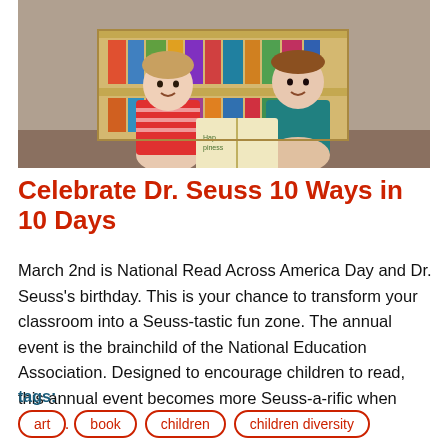[Figure (photo): Two young children smiling in front of a wooden bookshelf filled with colorful children's books, one holding an open picture book]
Celebrate Dr. Seuss 10 Ways in 10 Days
March 2nd is National Read Across America Day and Dr. Seuss's birthday. This is your chance to transform your classroom into a Seuss-tastic fun zone. The annual event is the brainchild of the National Education Association. Designed to encourage children to read, this annual event becomes more Seuss-a-rific when More...
tags:
art
book
children
children diversity